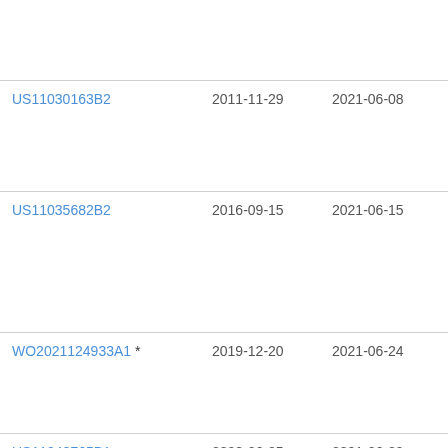| Patent | Filing Date | Publication Date | Assignee |
| --- | --- | --- | --- |
| US11030163B2 | 2011-11-29 | 2021-06-08 | Wo... |
| US11035682B2 | 2016-09-15 | 2021-06-15 | Sin... Llc... |
| WO2021124933A1 * | 2019-12-20 | 2021-06-24 | ... |
| US11048765B1 | 2008-06-25 | 2021-06-29 | Ric... |
| US11048738B2 * | 2019-01-31 | 2021-06-29 | EM... Cor... |